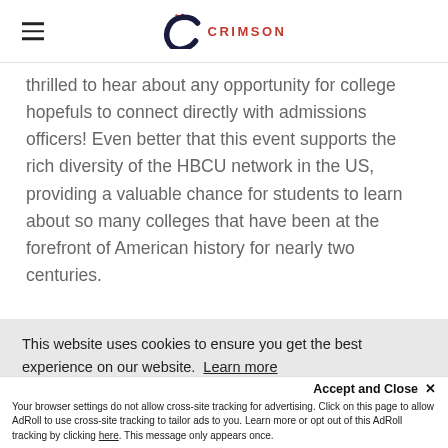Crimson Education
thrilled to hear about any opportunity for college hopefuls to connect directly with admissions officers! Even better that this event supports the rich diversity of the HBCU network in the US, providing a valuable chance for students to learn about so many colleges that have been at the forefront of American history for nearly two centuries.
Admissions Support
This website uses cookies to ensure you get the best experience on our website. Learn more
Accept and Close ✕
Your browser settings do not allow cross-site tracking for advertising. Click on this page to allow AdRoll to use cross-site tracking to tailor ads to you. Learn more or opt out of this AdRoll tracking by clicking here. This message only appears once.